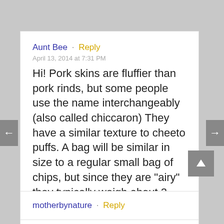Aunt Bee · Reply
April 13, 2014 at 7:31 PM
Hi! Pork skins are fluffier than pork rinds, but some people use the name interchangeably (also called chiccaron) They have a similar texture to cheeto puffs. A bag will be similar in size to a regular small bag of chips, but since they are "airy" they typically weigh about 2 ounces.
motherbynature · Reply